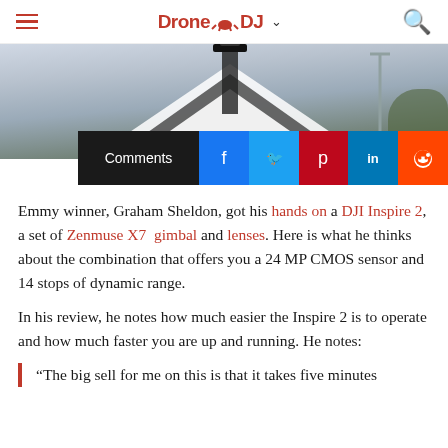DroneDJ
[Figure (photo): Aerial photo showing a black and white drone or aircraft structure against a sky background with trees visible]
[Figure (infographic): Social sharing bar with Comments button, Facebook, Twitter, Pinterest, LinkedIn, and Reddit icons]
Emmy winner, Graham Sheldon, got his hands on a DJI Inspire 2, a set of Zenmuse X7 gimbal and lenses. Here is what he thinks about the combination that offers you a 24 MP CMOS sensor and 14 stops of dynamic range.
In his review, he notes how much easier the Inspire 2 is to operate and how much faster you are up and running. He notes:
“The big sell for me on this is that it takes five minutes